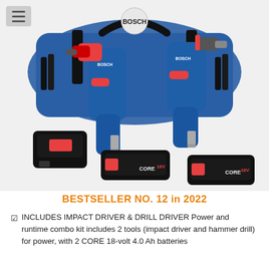[Figure (photo): Bosch 18V cordless tool combo kit product photo showing an impact driver and hammer drill with a blue duffel bag, battery charger, and two CORE18V 4.0 Ah batteries]
BESTSELLER NO. 12 in 2022
INCLUDES IMPACT DRIVER & DRILL DRIVER Power and runtime combo kit includes 2 tools (impact driver and hammer drill) for power, with 2 CORE 18-volt 4.0 Ah batteries